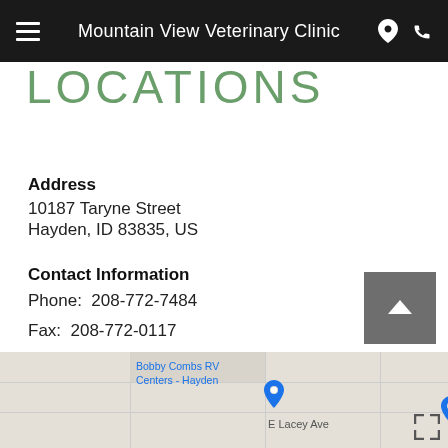Mountain View Veterinary Clinic
LOCATIONS
Address
10187 Taryne Street
Hayden, ID 83835, US
Contact Information
Phone: 208-772-7484
Fax: 208-772-0117
Email: nurse@mountainviewvc.net
[Figure (map): Google map showing location near Bobby Combs RV Centers - Hayden, with E Lacey Ave visible]